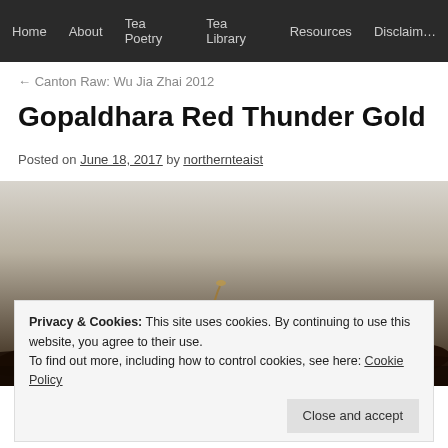Home | About | Tea Poetry | Tea Library | Resources | Disclaimer
← Canton Raw: Wu Jia Zhai 2012
Gopaldhara Red Thunder Gold
Posted on June 18, 2017 by northernteaist
[Figure (photo): Close-up photo of dried dark tea leaves (Gopaldhara Red Thunder Gold) on a light background]
Privacy & Cookies: This site uses cookies. By continuing to use this website, you agree to their use.
To find out more, including how to control cookies, see here: Cookie Policy